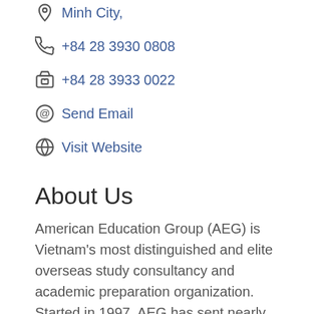Minh City,
+84 28 3930 0808
+84 28 3933 0022
Send Email
Visit Website
About Us
American Education Group (AEG) is Vietnam's most distinguished and elite overseas study consultancy and academic preparation organization. Started in 1997, AEG has sent nearly 2,000 students to America's most elite schools to study,